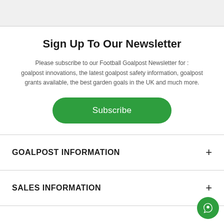Sign Up To Our Newsletter
Please subscribe to our Football Goalpost Newsletter for : goalpost innovations, the latest goalpost safety information, goalpost grants available, the best garden goals in the UK and much more.
Subscribe
GOALPOST INFORMATION
SALES INFORMATION